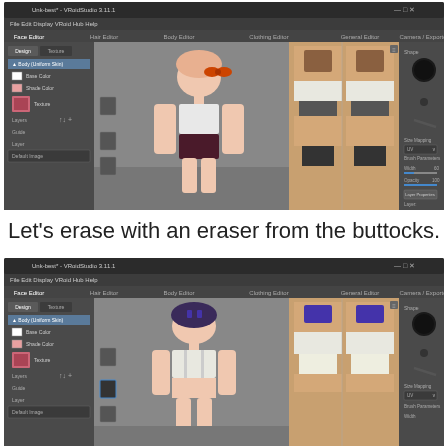[Figure (screenshot): VRoid Studio 3D character editor showing front/side view of anime girl character with white top and dark shorts, with UV texture map panel on right and editor panels on left and far right]
Let's erase with an eraser from the buttocks.
[Figure (screenshot): VRoid Studio 3D character editor showing back view of same anime girl character with white top, with UV texture map panel on right and editor panels on left and far right, showing eraser tool in use]